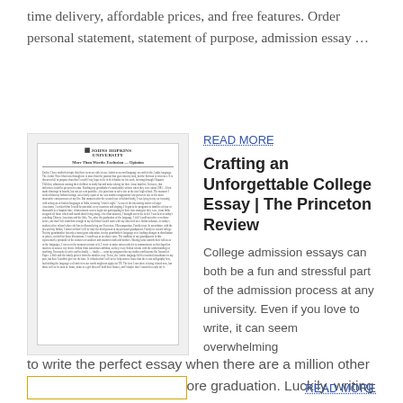time delivery, affordable prices, and free features. Order personal statement, statement of purpose, admission essay …
[Figure (illustration): Thumbnail of a Johns Hopkins University essay document page with header logo and body text]
READ MORE
Crafting an Unforgettable College Essay | The Princeton Review
College admission essays can both be a fun and stressful part of the admission process at any university. Even if you love to write, it can seem overwhelming to write the perfect essay when there are a million other loose ends to wrap up before graduation. Luckily, writing your essay …
[Figure (illustration): Partially visible thumbnail image at bottom of page]
READ MORE